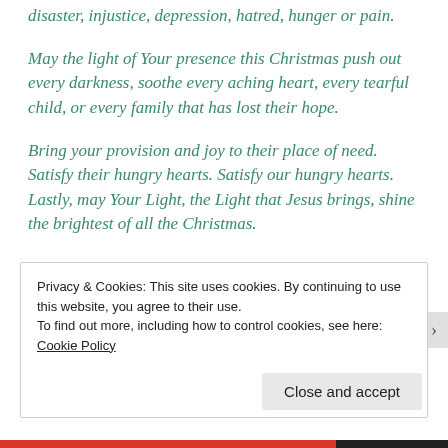disaster, injustice, depression, hatred, hunger or pain.
May the light of Your presence this Christmas push out every darkness, soothe every aching heart, every tearful child, or every family that has lost their hope.
Bring your provision and joy to their place of need. Satisfy their hungry hearts. Satisfy our hungry hearts. Lastly, may Your Light, the Light that Jesus brings, shine the brightest of all the Christmas.
Privacy & Cookies: This site uses cookies. By continuing to use this website, you agree to their use.
To find out more, including how to control cookies, see here:
Cookie Policy